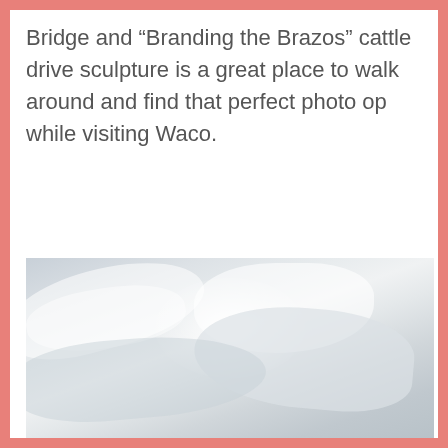Bridge and “Branding the Brazos” cattle drive sculpture is a great place to walk around and find that perfect photo op while visiting Waco.
[Figure (photo): A sky photograph showing overcast clouds in shades of light gray and white, with bright light breaking through the clouds.]